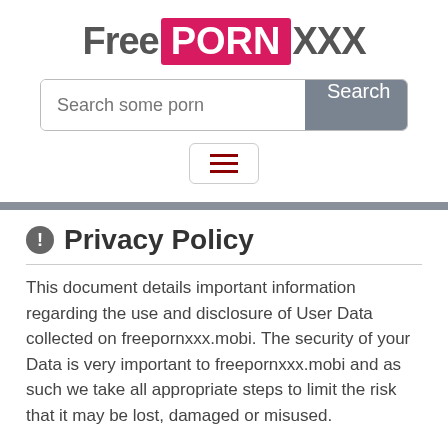FreePORNXXX
[Figure (other): Search bar with placeholder 'Search some porn' and a gray Search button]
[Figure (other): Hamburger menu icon button with three dark red horizontal lines]
Privacy Policy
This document details important information regarding the use and disclosure of User Data collected on freepornxxx.mobi. The security of your Data is very important to freepornxxx.mobi and as such we take all appropriate steps to limit the risk that it may be lost, damaged or misused.